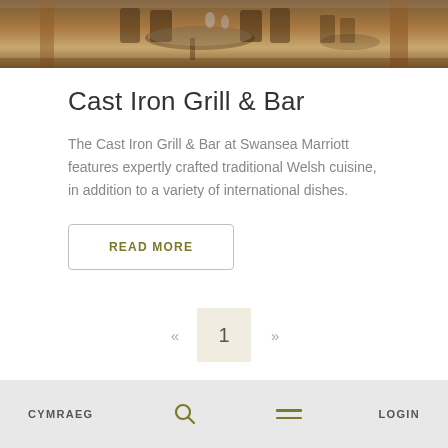[Figure (photo): Restaurant interior photo showing tables and chairs at the Cast Iron Grill & Bar]
Cast Iron Grill & Bar
The Cast Iron Grill & Bar at Swansea Marriott features expertly crafted traditional Welsh cuisine, in addition to a variety of international dishes.
READ MORE
« 1 »
CYMRAEG    [search icon]    [menu icon]    LOGIN